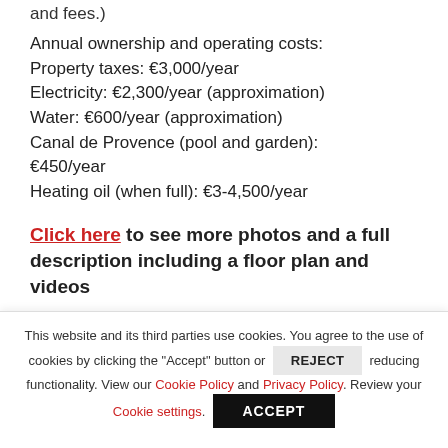and fees.)
Annual ownership and operating costs:
Property taxes: €3,000/year
Electricity: €2,300/year (approximation)
Water: €600/year (approximation)
Canal de Provence (pool and garden): €450/year
Heating oil (when full): €3-4,500/year
Click here to see more photos and a full description including a floor plan and videos
This website and its third parties use cookies. You agree to the use of cookies by clicking the "Accept" button or REJECT reducing functionality. View our Cookie Policy and Privacy Policy. Review your Cookie settings. ACCEPT